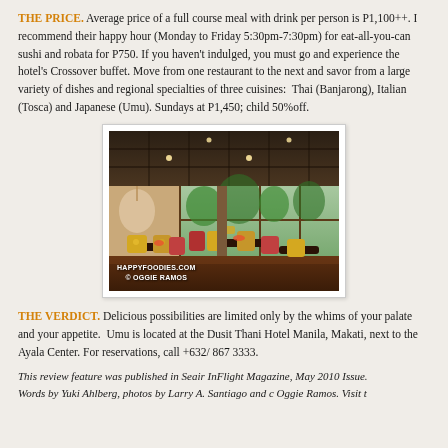THE PRICE. Average price of a full course meal with drink per person is P1,100++. I recommend their happy hour (Monday to Friday 5:30pm-7:30pm) for eat-all-you-can sushi and robata for P750. If you haven't indulged, you must go and experience the hotel's Crossover buffet. Move from one restaurant to the next and savor from a large variety of dishes and regional specialties of three cuisines: Thai (Banjarong), Italian (Tosca) and Japanese (Umu). Sundays at P1,450; child 50%off.
[Figure (photo): Interior of Umu restaurant at Dusit Thani Hotel Manila — dining area with yellow floral chairs, dark wood ceiling, and large windows overlooking greenery. Watermark: HAPPYFOODIES.COM © OGGIE RAMOS]
THE VERDICT. Delicious possibilities are limited only by the whims of your palate and your appetite. Umu is located at the Dusit Thani Hotel Manila, Makati, next to the Ayala Center. For reservations, call +632/ 867 3333.
This review feature was published in Seair InFlight Magazine, May 2010 Issue. Words by Yuki Ahlberg, photos by Larry A. Santiago and c Oggie Ramos. Visit the Dusit Thani Hotel Manila at www.dusit.com.